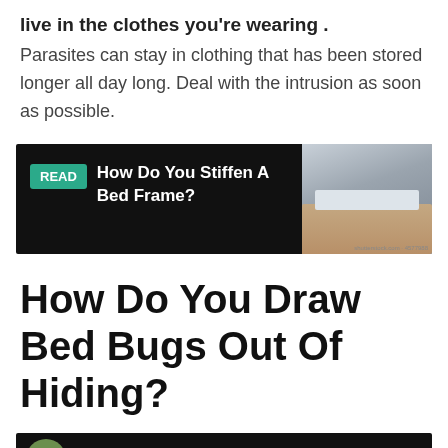live in the clothes you're wearing . Parasites can stay in clothing that has been stored longer all day long. Deal with the intrusion as soon as possible.
[Figure (infographic): READ card with black background showing 'How Do You Stiffen A Bed Frame?' text with a READ badge in teal, and a simulated bedroom photo on the right.]
How Do You Draw Bed Bugs Out Of Hiding?
[Figure (screenshot): WikiHow video card on black background showing wiki How logo and text 'What draws bed bugs out of hiding...' with three-dot menu icon.]